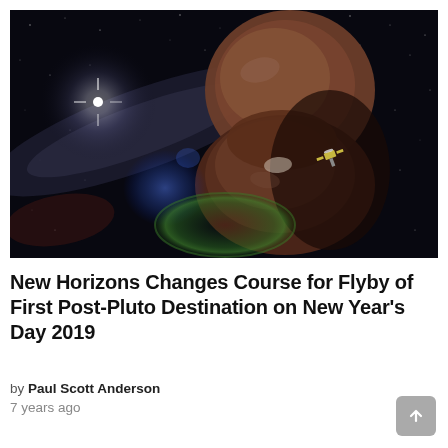[Figure (photo): Artistic rendering of a Kuiper Belt object (Ultima Thule / 2014 MU69) in deep space. A large reddish-brown rocky body dominates the upper-center of the image against a dark starfield. A bright white star or sun glows to the upper left with a diffuse glow. Blue lens flare artifacts appear in the lower-center area, along with a green circular lens flare. A small New Horizons spacecraft is visible near the object. The overall scene is dark and space-like.]
New Horizons Changes Course for Flyby of First Post-Pluto Destination on New Year's Day 2019
by Paul Scott Anderson
7 years ago